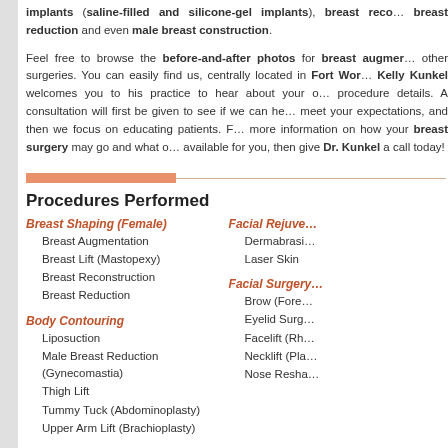implants (saline-filled and silicone-gel implants), breast reconstruction, breast reduction and even male breast construction.
Feel free to browse the before-and-after photos for breast augmentation and other surgeries. You can easily find us, centrally located in Fort Worth. Dr. Kelly Kunkel welcomes you to his practice to hear about your options and procedure details. A consultation will first be given to see if we can help you meet your expectations, and then we focus on educating patients. For more information on how your breast surgery may go and what options are available for you, then give Dr. Kunkel a call today!
Procedures Performed
Breast Shaping (Female)
Breast Augmentation
Breast Lift (Mastopexy)
Breast Reconstruction
Breast Reduction
Facial Rejuvenation
Dermabrasion
Laser Skin
Body Contouring
Liposuction
Male Breast Reduction (Gynecomastia)
Thigh Lift
Tummy Tuck (Abdominoplasty)
Upper Arm Lift (Brachioplasty)
Facial Surgery
Brow (Forehead) Lift
Eyelid Surgery
Facelift (Rhytidectomy)
Necklift (Platysmaplasty)
Nose Reshaping (Rhinoplasty)